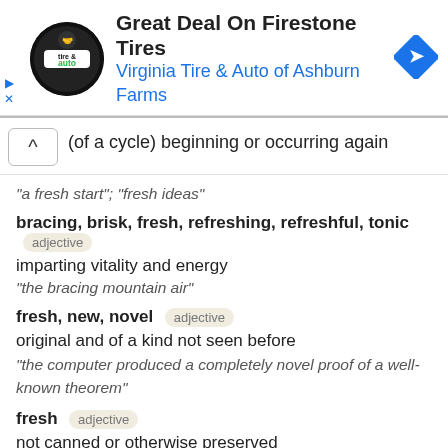[Figure (logo): Advertisement banner for Virginia Tire & Auto of Ashburn Farms with Firestone Tires deal, showing a circular tire & auto logo, text, and a blue diamond-shaped navigation arrow icon]
(of a cycle) beginning or occurring again
"a fresh start"; "fresh ideas"
bracing, brisk, fresh, refreshing, refreshful, tonic  adjective
imparting vitality and energy
"the bracing mountain air"
fresh, new, novel  adjective
original and of a kind not seen before
"the computer produced a completely novel proof of a well-known theorem"
fresh  adjective
not canned or otherwise preserved
"fresh vegetables"